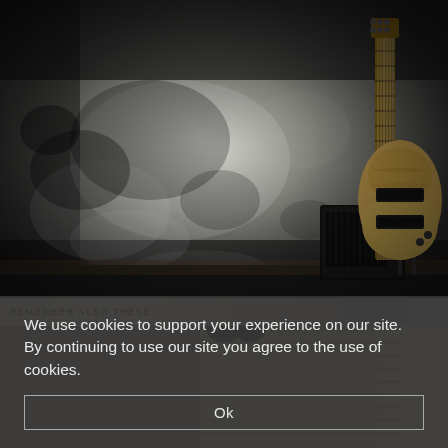[Figure (photo): Black and white photo of an electric guitar leaning against a grungy concrete wall, with a small amplifier on the floor beside it. The guitar has a natural wood finish body with dark pickups.]
REMEMBER ALSO THESE
[Figure (photo): A partially visible second photo showing guitar fretboard/neck details in a warm tan/brown tone, partially obscured by the cookie consent overlay.]
We use cookies to support your experience on our site. By continuing to use our site you agree to the use of cookies.
Ok